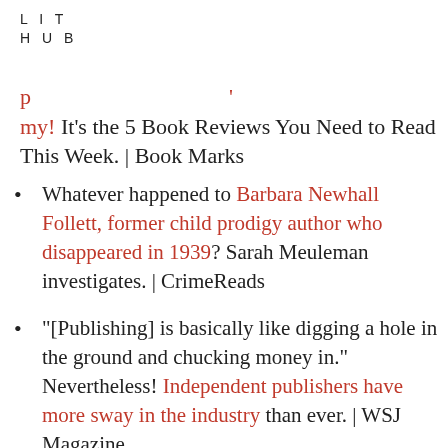LIT
HUB
my! It’s the 5 Book Reviews You Need to Read This Week. | Book Marks
Whatever happened to Barbara Newhall Follett, former child prodigy author who disappeared in 1939? Sarah Meuleman investigates. | CrimeReads
“[Publishing] is basically like digging a hole in the ground and chucking money in.” Nevertheless! Independent publishers have more sway in the industry than ever. | WSJ Magazine